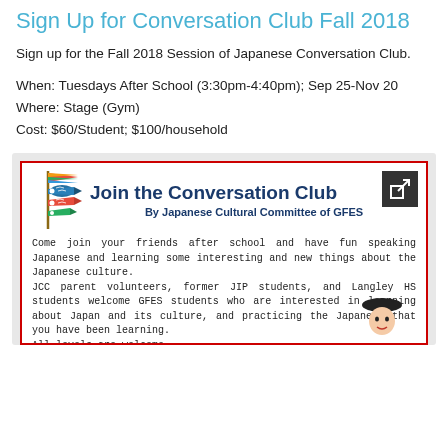Sign Up for Conversation Club Fall 2018
Sign up for the Fall 2018 Session of Japanese Conversation Club.
When: Tuesdays After School (3:30pm-4:40pm); Sep 25-Nov 20
Where: Stage (Gym)
Cost: $60/Student; $100/household
[Figure (infographic): Flyer for 'Join the Conversation Club' by Japanese Cultural Committee of GFES. Includes koinobori (fish kite) logo, text about coming to join friends after school to speak Japanese and learn about Japanese culture. JCC parent volunteers, former JIP students, and Langley HS students welcome GFES students. All levels are welcome. Features cartoon Japanese character at bottom right.]